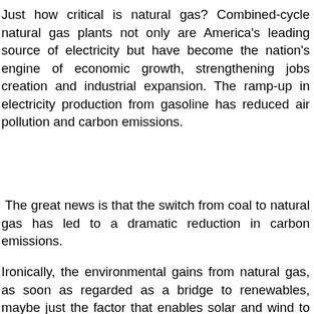Just how critical is natural gas? Combined-cycle natural gas plants not only are America's leading source of electricity but have become the nation's engine of economic growth, strengthening jobs creation and industrial expansion. The ramp-up in electricity production from gasoline has reduced air pollution and carbon emissions.
The great news is that the switch from coal to natural gas has led to a dramatic reduction in carbon emissions.
Ironically, the environmental gains from natural gas, as soon as regarded as a bridge to renewables, maybe just the factor that enables solar and wind to retain a place in